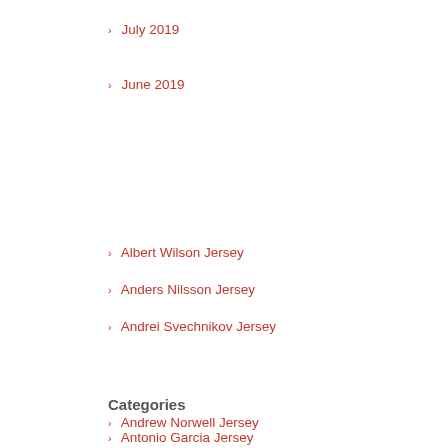July 2019
June 2019
Albert Wilson Jersey
Anders Nilsson Jersey
Andrei Svechnikov Jersey
Categories
Andrew Norwell Jersey
Antonio Garcia Jersey
Austin Ekeler Jersey
Bob Feller Jersey
Bobby Ryan Jersey
Brady Tkachuk Jersey
Carter Verhaeghe Jersey
cheap nfl jerseys
Chris Kreider Jersey
CJ Wilson Jersey
Colby Wadman Jersey